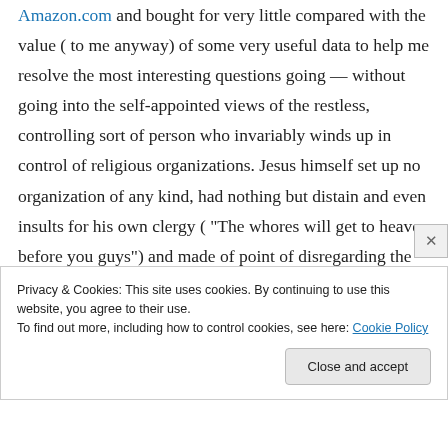Amazon.com and bought for very little compared with the value ( to me anyway) of some very useful data to help me resolve the most interesting questions going — without going into the self-appointed views of the restless, controlling sort of person who invariably winds up in control of religious organizations. Jesus himself set up no organization of any kind, had nothing but distain and even insults for his own clergy ( "The whores will get to heaven before you guys") and made of point of disregarding the
Privacy & Cookies: This site uses cookies. By continuing to use this website, you agree to their use. To find out more, including how to control cookies, see here: Cookie Policy